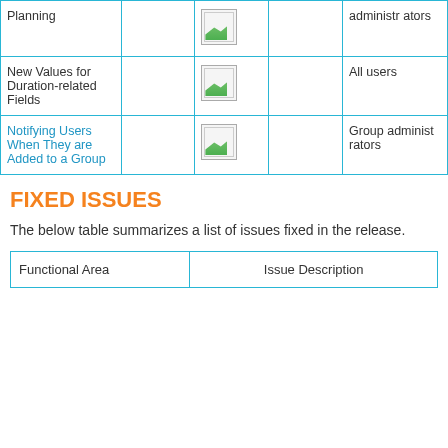| Feature |  |  |  |  | Affected Users |
| --- | --- | --- | --- | --- | --- |
| Planning |  | [icon] |  |  | administrators |
| New Values for Duration-related Fields |  | [icon] |  |  | All users |
| Notifying Users When They are Added to a Group |  | [icon] |  |  | Group administrators |
FIXED ISSUES
The below table summarizes a list of issues fixed in the release.
| Functional Area | Issue Description |
| --- | --- |